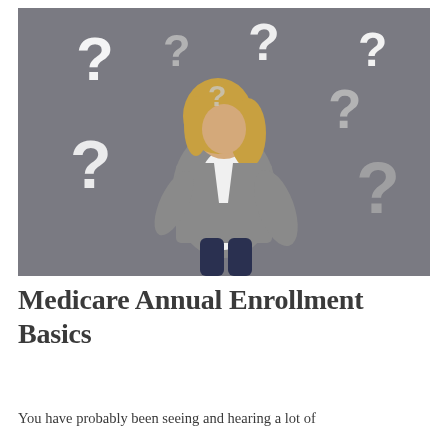[Figure (photo): A woman with blonde hair wearing a grey blazer and white top, standing against a grey background, looking up with a curious/confused expression. Multiple large question marks (white and grey) are scattered around her above her head.]
Medicare Annual Enrollment Basics
You have probably been seeing and hearing a lot of